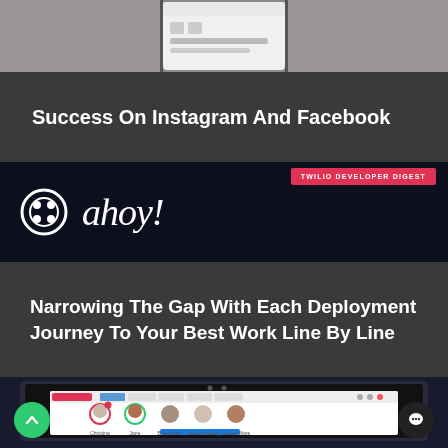[Figure (screenshot): Top image strip showing a phone mockup with Instagram/Facebook content on a wooden table background]
Success On Instagram And Facebook
[Figure (logo): Twilio Developer Digest badge (red) with ahoy! logo and circular icon on dark navy background]
Narrowing The Gap With Each Deployment Journey To Your Best Work Line By Line
[Figure (screenshot): Laptop screen showing LiveChat application interface with user avatars (Christina, Jane, Brian Miller, Cassie Bradley, Cassie Ware)]